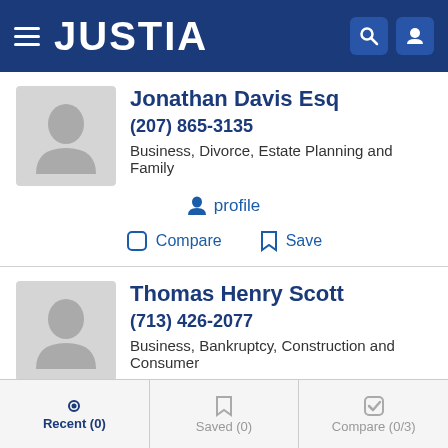JUSTIA
Jonathan Davis Esq
(207) 865-3135
Business, Divorce, Estate Planning and Family
profile
Compare   Save
Thomas Henry Scott
(713) 426-2077
Business, Bankruptcy, Construction and Consumer
profile
Recent (0)   Saved (0)   Compare (0/3)